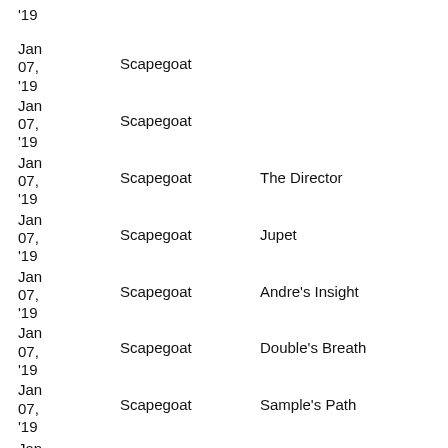| Date | Show | Episode |
| --- | --- | --- |
| '19 |  |  |
| Jan 07, '19 | Scapegoat |  |
| Jan 07, '19 | Scapegoat |  |
| Jan 07, '19 | Scapegoat | The Director |
| Jan 07, '19 | Scapegoat | Jupet |
| Jan 07, '19 | Scapegoat | Andre's Insight |
| Jan 07, '19 | Scapegoat | Double's Breath |
| Jan 07, '19 | Scapegoat | Sample's Path |
| Jan |  |  |